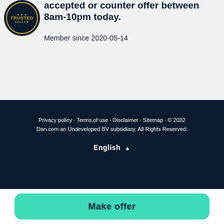[Figure (logo): Trusted Seller badge — circular dark navy badge with gold text reading TRUSTED SELLER and decorative ring]
accepted or counter offer between 8am-10pm today.
Member since 2020-05-14
Privacy policy · Terms of use · Disclaimer · Sitemap · © 2022 Dan.com an Undeveloped BV subsidiary. All Rights Reserved.
English ▲
Make offer